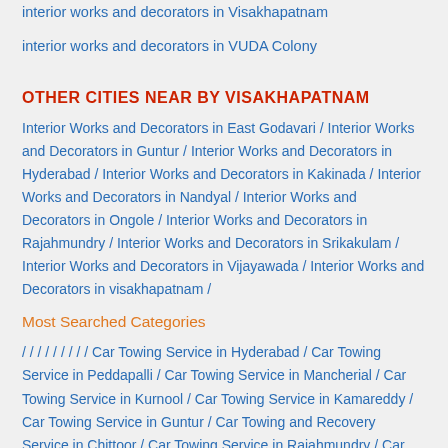interior works and decorators in Visakhapatnam
interior works and decorators in VUDA Colony
OTHER CITIES NEAR BY VISAKHAPATNAM
Interior Works and Decorators in East Godavari / Interior Works and Decorators in Guntur / Interior Works and Decorators in Hyderabad / Interior Works and Decorators in Kakinada / Interior Works and Decorators in Nandyal / Interior Works and Decorators in Ongole / Interior Works and Decorators in Rajahmundry / Interior Works and Decorators in Srikakulam / Interior Works and Decorators in Vijayawada / Interior Works and Decorators in visakhapatnam /
Most Searched Categories
/ / / / / / / / / Car Towing Service in Hyderabad / Car Towing Service in Peddapalli / Car Towing Service in Mancherial / Car Towing Service in Kurnool / Car Towing Service in Kamareddy / Car Towing Service in Guntur / Car and Recovery Service in Chittoor / Car Towing Service in Rajahmundry / Car To...